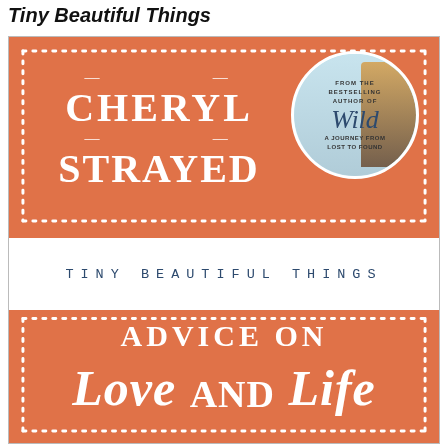Tiny Beautiful Things
[Figure (illustration): Book cover of 'Tiny Beautiful Things' by Cheryl Strayed. Orange textured background with white dotted border. Top band shows author name CHERYL STRAYED with decorative dashes, and a circular inset showing the cover of 'Wild: A Journey from Lost to Found'. Middle white band reads 'TINY BEAUTIFUL THINGS' in spaced navy letters. Bottom orange band reads 'ADVICE ON Love and Life' in white text.]